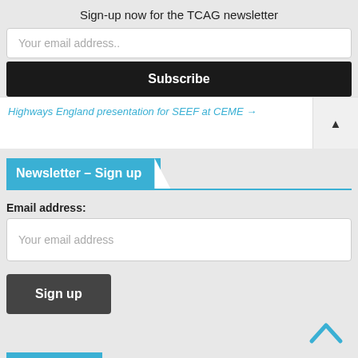Sign-up now for the TCAG newsletter
Your email address..
Subscribe
Highways England presentation for SEEF at CEME →
Newsletter – Sign up
Email address:
Your email address
Sign up